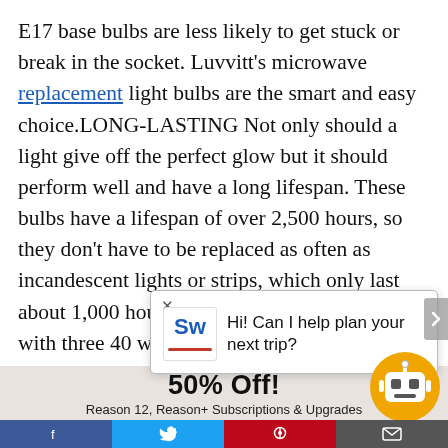E17 base bulbs are less likely to get stuck or break in the socket. Luvvitt's microwave replacement light bulbs are the smart and easy choice.LONG-LASTING Not only should a light give off the perfect glow but it should perform well and have a long lifespan. These bulbs have a lifespan of over 2,500 hours, so they don't have to be replaced as often as incandescent lights or strips, which only last about 1,000 hours on average. This pack comes with three 40 watt microwave light bulbs.
[Figure (screenshot): Chat popup overlay with 'x' close button, travel service logo 'Sw' with red underline, and text 'Hi! Can I help plan your next trip?']
[Figure (screenshot): Advertisement banner: '50% Off! Reason 12, Reason+ Subscriptions & Upgrades' with 'Shop now' link, and a chatbot robot face icon in orange circle bottom right]
Social share bar with Facebook, Twitter, Pinterest, and Email icons